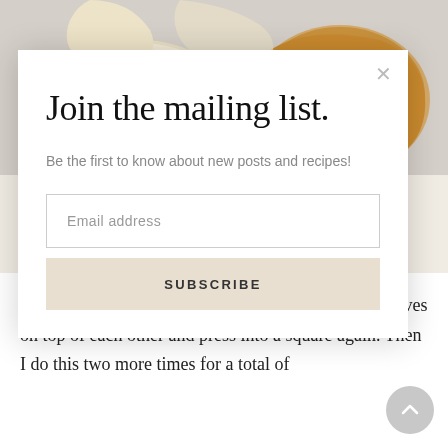[Figure (photo): Close-up photo of pieces of bread or biscuit dough on a light surface, partially visible at the top of the page.]
Join the mailing list.
Be the first to know about new posts and recipes!
Email address
SUBSCRIBE
into a square and then cut it in half. Stack the two halves on top of each other and press into a square again. Then I do this two more times for a total of